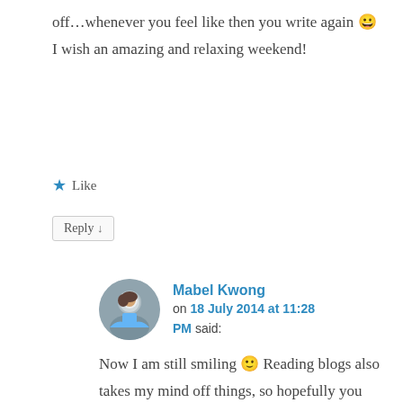off…whenever you feel like then you write again 😀 I wish an amazing and relaxing weekend!
★ Like
Reply ↓
Mabel Kwong on 18 July 2014 at 11:28 PM said:
Now I am still smiling 🙂 Reading blogs also takes my mind off things, so hopefully you will have a post again soon and I will smile more. You're right. By putting our feelings out we are only being honest with